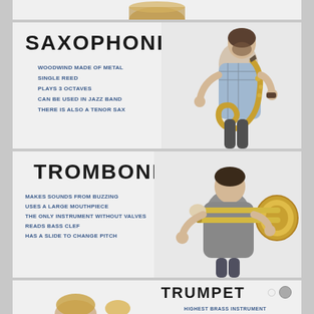[Figure (photo): Partial view of a drum instrument at top of page]
SAXOPHONE
WOODWIND MADE OF METAL
SINGLE REED
PLAYS 3 OCTAVES
CAN BE USED IN JAZZ BAND
THERE IS ALSO A TENOR SAX
[Figure (photo): Man playing saxophone, wearing plaid shirt]
TROMBONE
MAKES SOUNDS FROM BUZZING
USES A LARGE MOUTHPIECE
THE ONLY INSTRUMENT WITHOUT VALVES
READS BASS CLEF
HAS A SLIDE TO CHANGE PITCH
[Figure (photo): Man playing trombone, wearing gray shirt]
TRUMPET
HIGHEST BRASS INSTRUMENT